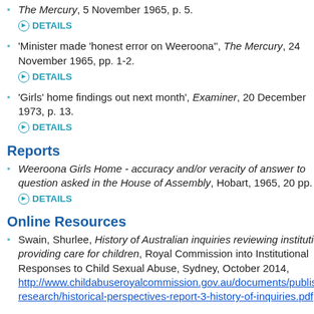The Mercury, 5 November 1965, p. 5. DETAILS
'Minister made 'honest error on Weeroona'', The Mercury, 24 November 1965, pp. 1-2. DETAILS
'Girls' home findings out next month', Examiner, 20 December 1973, p. 13. DETAILS
Reports
Weeroona Girls Home - accuracy and/or veracity of answer to question asked in the House of Assembly, Hobart, 1965, 20 pp. DETAILS
Online Resources
Swain, Shurlee, History of Australian inquiries reviewing institutions providing care for children, Royal Commission into Institutional Responses to Child Sexual Abuse, Sydney, October 2014, http://www.childabuseroyalcommission.gov.au/documents/published-research/historical-perspectives-report-3-history-of-inquiries.pdf